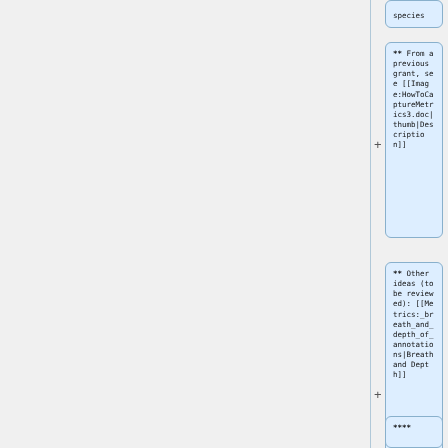species
** From a previous grant, see [[Image:HowToCaptureMetrics3.doc|thumb|Description]]
** Other ideas (to be reviewed): [[Metrics:_breath_and_depth_of_annotations|Breath and Depth]]
****